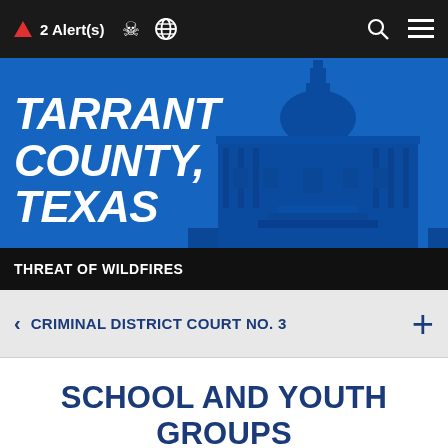2 Alert(s)
[Figure (screenshot): Tarrant County Texas website banner with courthouse building image and blue background]
THREAT OF WILDFIRES
CRIMINAL DISTRICT COURT NO. 3
SCHOOL AND YOUTH GROUPS
Criminal Courts > Felony Courts > Criminal District Court No. 3 > School/Youth